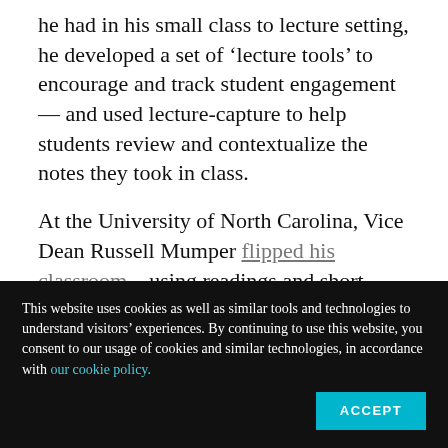he had in his small class to lecture setting, he developed a set of 'lecture tools' to encourage and track student engagement — and used lecture-capture to help students review and contextualize the notes they took in class.
At the University of North Carolina, Vice Dean Russell Mumper flipped his classroom—using readings and short videos as the primary tool for content transfer, and using class time for
This website uses cookies as well as similar tools and technologies to understand visitors' experiences. By continuing to use this website, you consent to our usage of cookies and similar technologies, in accordance with our cookie policy.